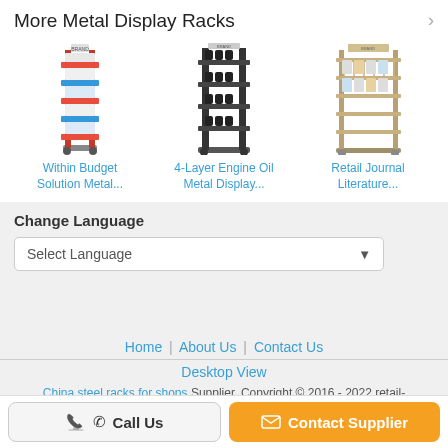More Metal Display Racks
[Figure (photo): Product image: Within Budget Solution Metal display rack - tall multi-colored retail display stand]
[Figure (photo): Product image: 4-Layer Engine Oil Metal Display rack - black multi-shelf display]
[Figure (photo): Product image: Retail Journal Literature display rack - beige/tan wire rack on wheels]
Within Budget Solution Metal...
4-Layer Engine Oil Metal Display...
Retail Journal Literature...
Change Language
Select Language
Home | About Us | Contact Us
Desktop View
China steel racks for shops Supplier. Copyright © 2016 - 2022 retail-displaystand.com. All rights reserved. Developed by ECER
Call Us
Contact Supplier